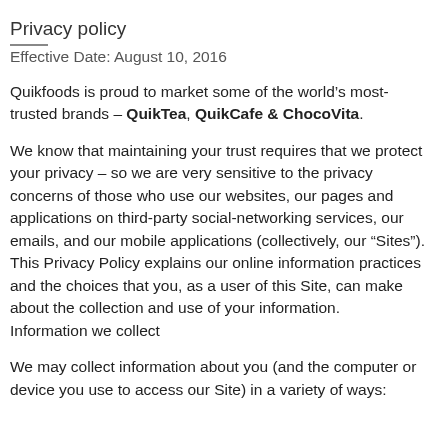Privacy policy
Effective Date: August 10, 2016
Quikfoods is proud to market some of the world’s most-trusted brands – QuikTea, QuikCafe & ChocoVita.
We know that maintaining your trust requires that we protect your privacy – so we are very sensitive to the privacy concerns of those who use our websites, our pages and applications on third-party social-networking services, our emails, and our mobile applications (collectively, our “Sites”).
This Privacy Policy explains our online information practices and the choices that you, as a user of this Site, can make about the collection and use of your information.
Information we collect
We may collect information about you (and the computer or device you use to access our Site) in a variety of ways: